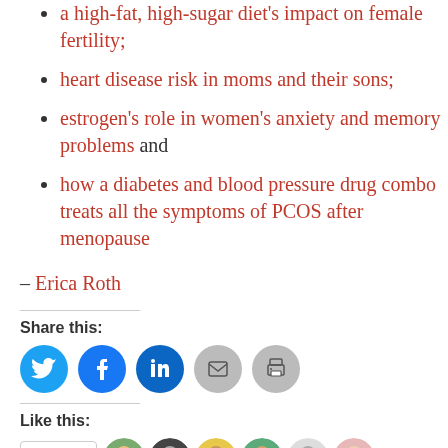a high-fat, high-sugar diet's impact on female fertility;
heart disease risk in moms and their sons;
estrogen's role in women's anxiety and memory problems and
how a diabetes and blood pressure drug combo treats all the symptoms of PCOS after menopause
– Erica Roth
Share this:
[Figure (infographic): Social sharing icons: Twitter (blue), Facebook (blue), LinkedIn (blue), Email (grey), Print (grey)]
Like this:
[Figure (infographic): Like button with star icon and avatars of people who liked the post]